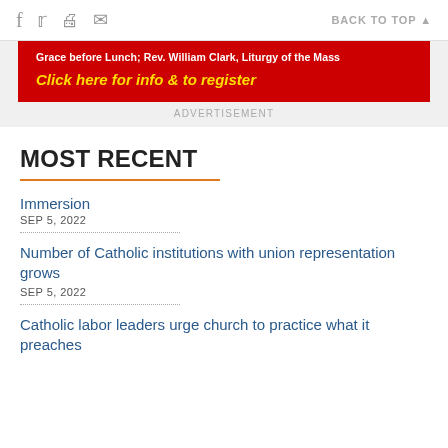f  [twitter]  [print]  [email]    BACK TO TOP ▲
[Figure (other): Red advertisement banner with white bold text 'Grace before Lunch; Rev. William Clark, Liturgy of the Mass' and yellow italic bold text 'Click here for info & to register' on red background, with ADVERTISEMENT label below]
MOST RECENT
Immersion
SEP 5, 2022
Number of Catholic institutions with union representation grows
SEP 5, 2022
Catholic labor leaders urge church to practice what it preaches